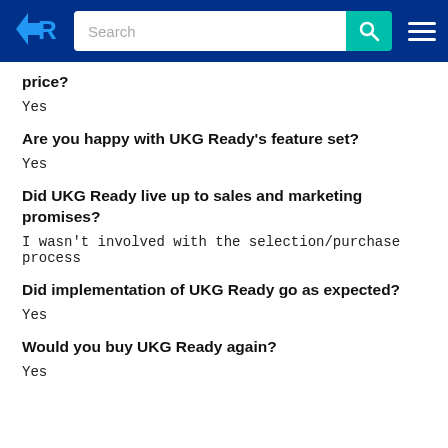TrustRadius header with search bar
price?
Yes
Are you happy with UKG Ready's feature set?
Yes
Did UKG Ready live up to sales and marketing promises?
I wasn't involved with the selection/purchase process
Did implementation of UKG Ready go as expected?
Yes
Would you buy UKG Ready again?
Yes